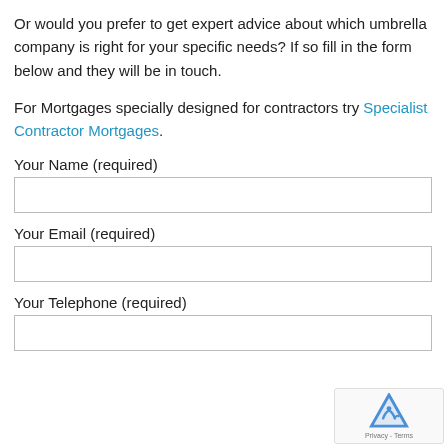Or would you prefer to get expert advice about which umbrella company is right for your specific needs? If so fill in the form below and they will be in touch.
For Mortgages specially designed for contractors try Specialist Contractor Mortgages.
Your Name (required)
Your Email (required)
Your Telephone (required)